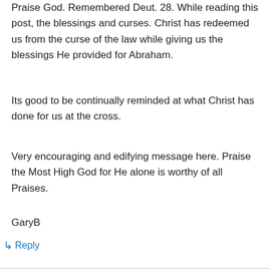Praise God. Remembered Deut. 28. While reading this post, the blessings and curses. Christ has redeemed us from the curse of the law while giving us the blessings He provided for Abraham.
Its good to be continually reminded at what Christ has done for us at the cross.
Very encouraging and edifying message here. Praise the Most High God for He alone is worthy of all Praises.
GaryB
↳ Reply